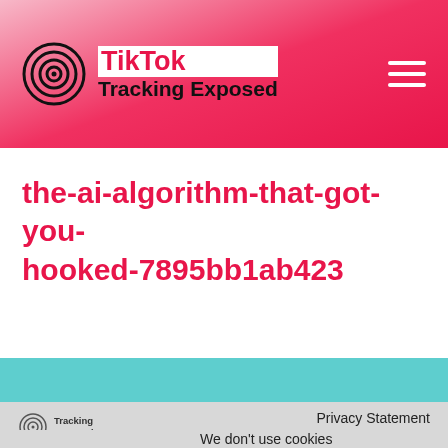TikTok Tracking Exposed
the-ai-algorithm-that-got-you-hooked-7895bb1ab423
Tracking Exposed | Privacy Statement | Stats | We don't use cookies